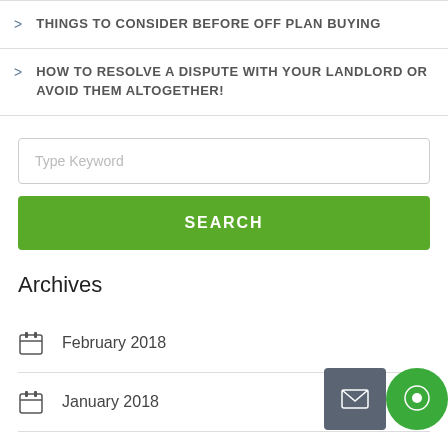THINGS TO CONSIDER BEFORE OFF PLAN BUYING
HOW TO RESOLVE A DISPUTE WITH YOUR LANDLORD OR AVOID THEM ALTOGETHER!
Type Keyword
SEARCH
Archives
February 2018
January 2018
March 2017